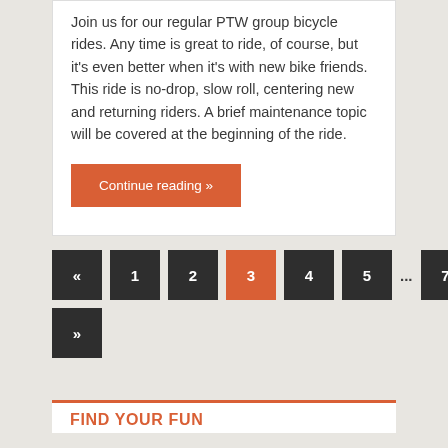Join us for our regular PTW group bicycle rides. Any time is great to ride, of course, but it's even better when it's with new bike friends. This ride is no-drop, slow roll, centering new and returning riders. A brief maintenance topic will be covered at the beginning of the ride.
Continue reading »
« 1 2 3 4 5 … 7 »
FIND YOUR FUN